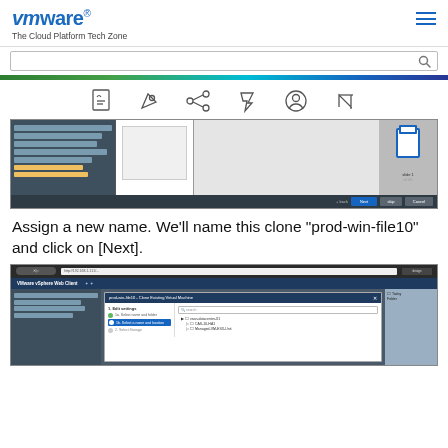VMware The Cloud Platform Tech Zone
[Figure (screenshot): VMware vSphere Web Client screenshot showing a clone virtual machine dialog with name and location step, with Next button highlighted]
[Figure (other): Toolbar icons: PDF, tag, share, pin, user, expand]
[Figure (screenshot): VMware vSphere Web Client dialog showing clone virtual machine wizard with 'Select a name and folder' step highlighted, showing datacenter and cluster tree]
Assign a new name. We'll name this clone "prod-win-file10" and click on [Next].